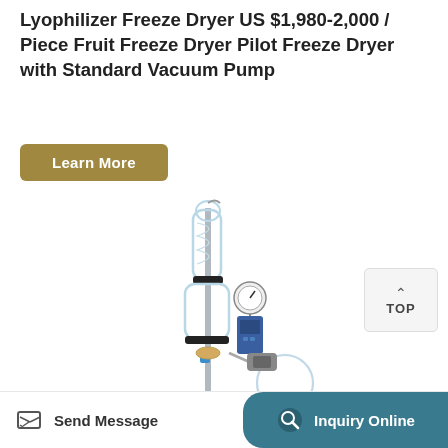Lyophilizer Freeze Dryer US $1,980-2,000 / Piece Fruit Freeze Dryer Pilot Freeze Dryer with Standard Vacuum Pump
Learn More
[Figure (photo): A lyophilizer / freeze dryer laboratory apparatus with glass columns, metal fittings, a pressure gauge, blue control unit, and a round flask at bottom, mounted on a metal stand.]
TOP
Send Message
Inquiry Online